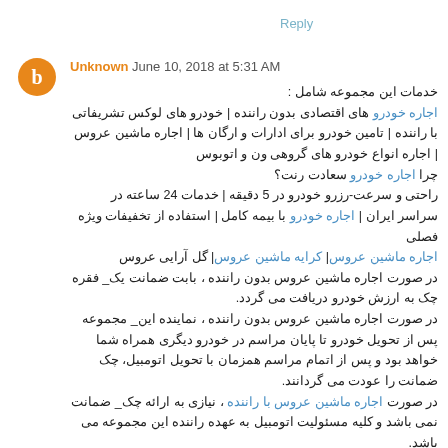Reply
Unknown June 10, 2018 at 5:31 AM
خدمات این مجموعه شامل : اجاره خودرو های اقتصادی بدون راننده | خودرو های لوکس تشریفاتی با راننده | تامین خودرو برای ادارات و ارگان ها | اجاره ماشین عروس | اجاره انواع خودرو های گروهی ون و اتوبوس چرا اجاره خودرو سعادت رنت؟ راحتی و سرعت-رزرو خودرو در 5 دقیقه | خدمات 24 ساعته در سراسر ایران | اجاره خودرو با بیمه کامل | استفاده از تخفیفات ویژه فصلی اجاره ماشین عروس| کرایه ماشین عروس| گل آرایی عروس در صورت اجاره ماشین عروس بدون راننده ، بابت ضمانت یک_ فقره چک به ارزش خودرو دریافت می گردد. در صورت اجاره ماشین عروس بدون راننده ، نماینده این_ مجموعه پس از تحویل خودرو تا پایان مراسم در خودرو دیگری همراه شما خواهد بود و پس از اتمام مراسم همزمان با تحویل اتومبیل، چک ضمانت را عودت می گردانند. در صورت اجاره ماشین عروس با راننده ، نیازی به ارائه چک_ ضمانت نمی باشد و کلیه مسئولیت اتومبیل به عهده راننده این مجموعه می باشد.